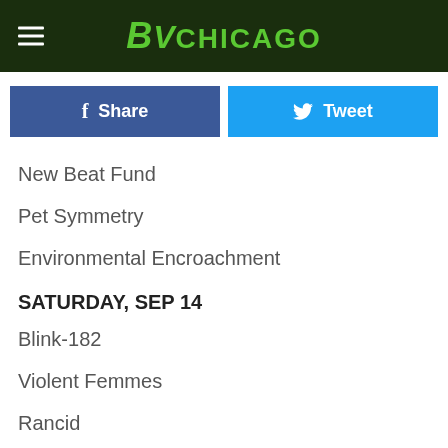BV CHICAGO
Share | Tweet
New Beat Fund
Pet Symmetry
Environmental Encroachment
SATURDAY, SEP 14
Blink-182
Violent Femmes
Rancid
Blondie
Public Enemy
Flag
Guided By Voices